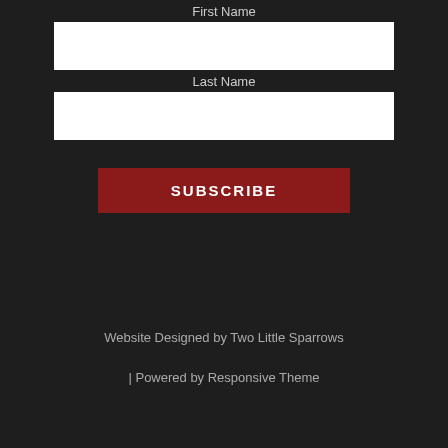First Name
(input field - First Name)
Last Name
(input field - Last Name)
SUBSCRIBE
Website Designed by Two Little Sparrows
| Powered by Responsive Theme